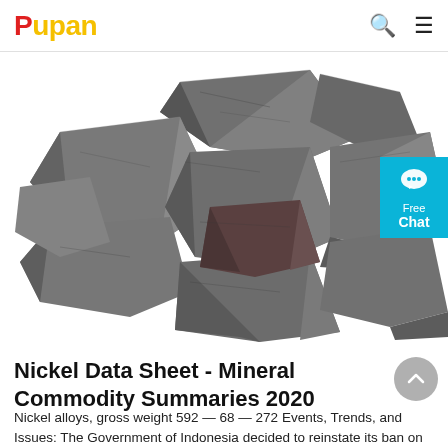Pupan
[Figure (photo): A pile of dark gray metallic nickel ore rocks/chunks on a white background.]
Nickel Data Sheet - Mineral Commodity Summaries 2020
Nickel alloys, gross weight 592 — 68 — 272 Events, Trends, and Issues: The Government of Indonesia decided to reinstate its ban on direct shipping nickel ore beginning in January 2020...